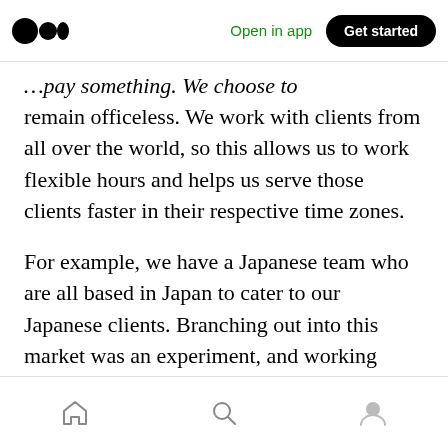Medium logo | Open in app | Get started
…pay something. We choose to remain officeless. We work with clients from all over the world, so this allows us to work flexible hours and helps us serve those clients faster in their respective time zones.
For example, we have a Japanese team who are all based in Japan to cater to our Japanese clients. Branching out into this market was an experiment, and working remotely is a perfect way to test out an opportunity like this. If we had set up an office in Japan, it would have been a very expensive experiment.
Home | Search | Profile